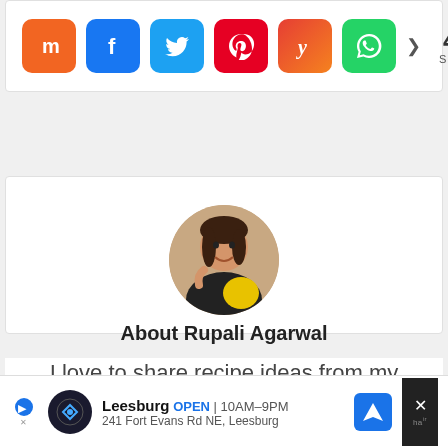[Figure (infographic): Social share buttons row: Mix (orange), Facebook (blue), Twitter (blue), Pinterest (red), Yummly (orange-red), WhatsApp (green), plus share count of 411 SHARES]
411 SHARES
[Figure (photo): Circular profile photo of Rupali Agarwal, a woman smiling, wearing a black top and holding a yellow object]
About Rupali Agarwal
I love to share recipe ideas from my North Indian roots and my
[Figure (infographic): Advertisement banner: Leesburg OPEN 10AM-9PM, 241 Fort Evans Rd NE, Leesburg with navigation icon and close button]